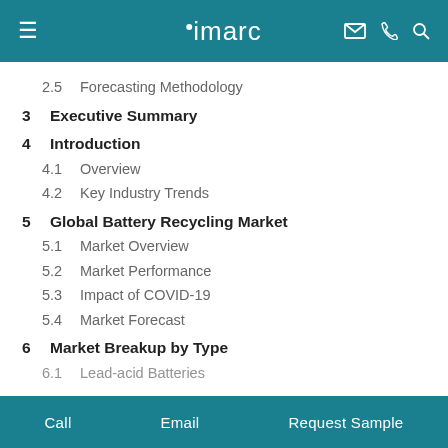imarc
2.5   Forecasting Methodology
3   Executive Summary
4   Introduction
4.1   Overview
4.2   Key Industry Trends
5   Global Battery Recycling Market
5.1   Market Overview
5.2   Market Performance
5.3   Impact of COVID-19
5.4   Market Forecast
6   Market Breakup by Type
6.1   Lead-acid Batteries
Call   Email   Request Sample